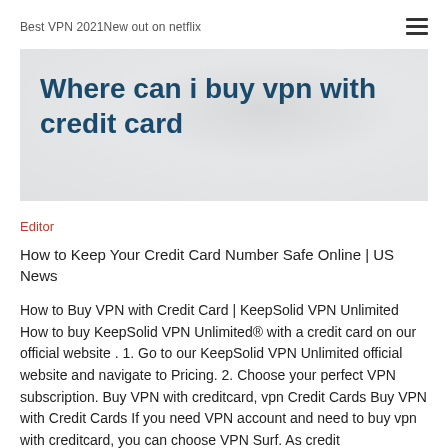Best VPN 2021New out on netflix
Where can i buy vpn with credit card
Editor
How to Keep Your Credit Card Number Safe Online | US News
How to Buy VPN with Credit Card | KeepSolid VPN Unlimited How to buy KeepSolid VPN Unlimited® with a credit card on our official website . 1. Go to our KeepSolid VPN Unlimited official website and navigate to Pricing. 2. Choose your perfect VPN subscription. Buy VPN with creditcard, vpn Credit Cards Buy VPN with Credit Cards If you need VPN account and need to buy vpn with creditcard, you can choose VPN Surf. As credit